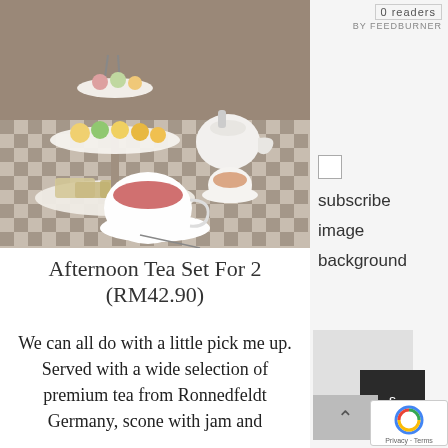[Figure (photo): Afternoon tea set with tiered cake stand holding macarons, pastries, and sandwiches, alongside a white teapot and two cups of tea on a checkered tablecloth.]
Afternoon Tea Set For 2
(RM42.90)
We can all do with a little pick me up. Served with a wide selection of premium tea from Ronnedfeldt Germany, scone with jam and
0 readers
BY FEEDBURNER
subscribe
image
background